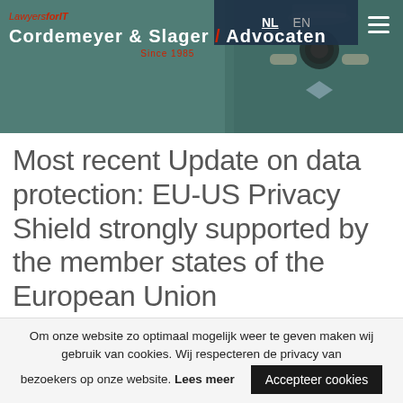[Figure (photo): Header banner with law firm logo overlaid on photo of a person holding a camera up to their face. Teal/green background. Navigation bar with NL/EN language options and hamburger menu icon.]
LawyersforIT Cordemeyer & Slager / Advocaten Since 1985
Most recent Update on data protection: EU-US Privacy Shield strongly supported by the member states of the European Union
Om onze website zo optimaal mogelijk weer te geven maken wij gebruik van cookies. Wij respecteren de privacy van bezoekers op onze website. Lees meer   Accepteer cookies